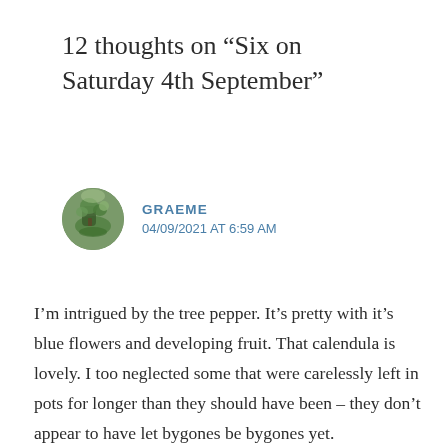12 thoughts on “Six on Saturday 4th September”
[Figure (photo): Circular avatar photo showing a garden scene with trees and greenery]
GRAEME
04/09/2021 AT 6:59 AM
I’m intrigued by the tree pepper. It’s pretty with it’s blue flowers and developing fruit. That calendula is lovely. I too neglected some that were carelessly left in pots for longer than they should have been – they don’t appear to have let bygones be bygones yet.